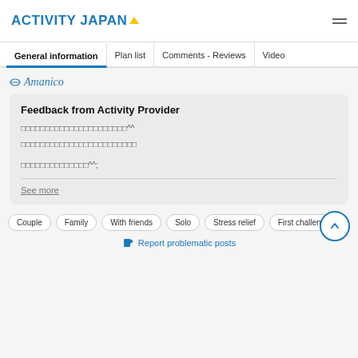ACTIVITY JAPAN
General information | Plan list | Comments - Reviews | Video
[Figure (logo): Amanico brand logo with italic script text and small icon]
Feedback from Activity Provider
□□□□□□□□□□□□□□□□□□□□□□^^
□□□□□□□□□□□□□□□□□□□□□□□□

□□□□□□□□□□□□□□^^;
See more
Couple  Family  With friends  Solo  Stress relief  First challenge
Report problematic posts